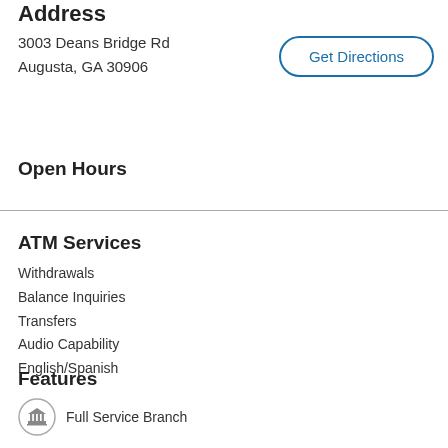Address
3003 Deans Bridge Rd
Augusta, GA 30906
Get Directions
Open Hours
ATM Services
Withdrawals
Balance Inquiries
Transfers
Audio Capability
English/Spanish
Features
Full Service Branch